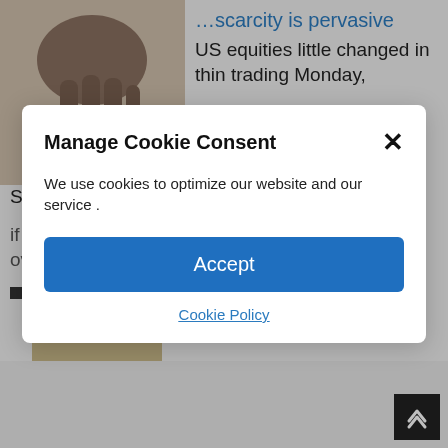[Figure (photo): Close-up photo of dark liquid (oil) dripping from fingers against white background]
...scarcity is pervasive
US equities little changed in thin trading Monday, S&P flat. the bond sell-off extended
Manage Cookie Consent
We use cookies to optimize our website and our service .
Accept
Cookie Policy
if you want to gauge whether an asset might be overbought or oversold while trading
[Figure (photo): Photo of bundled Japanese yen banknotes]
Yen Selloff Intensifies